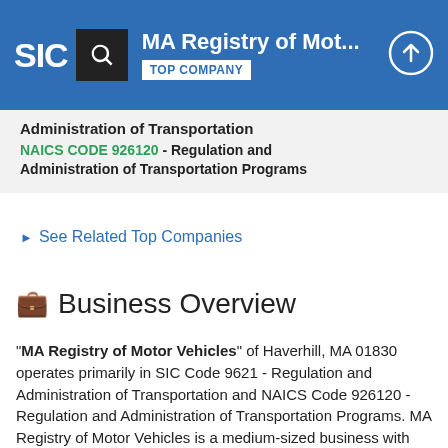MA Registry of Mot... | TOP COMPANY
Administration of Transportation
NAICS CODE 926120 - Regulation and Administration of Transportation Programs
See Related Top Companies
Business Overview
"MA Registry of Motor Vehicles" of Haverhill, MA 01830 operates primarily in SIC Code 9621 - Regulation and Administration of Transportation and NAICS Code 926120 - Regulation and Administration of Transportation Programs. MA Registry of Motor Vehicles is a medium-sized business with medium revenue, that is new in its industry.